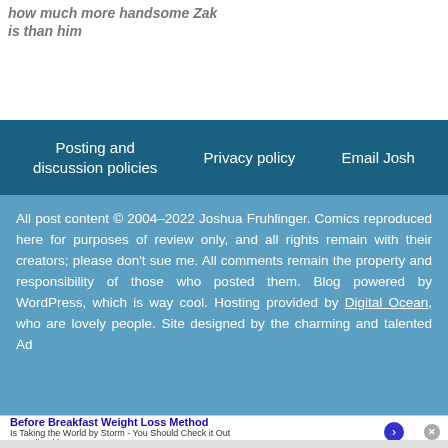how much more handsome Zak is than him
Posting and discussion policies | Privacy policy | Email Josh
All post content © 2004–2022 Joshua Fruhlinger. Comics reproduced here for purposes of review only, and all rights remain with their creators; please don't sue me. All comments remain the property and responsibility of those who posted them. Blog powered by WordPress, which is way cool. Hosting provided by Digital Ocean, who are lovely people. Site designed by the charming and talented Ad...
[Figure (screenshot): Advertisement banner: Before Breakfast Weight Loss Method - Is Taking the World by Storm - You Should Check it Out - naturalhealthcures.net]